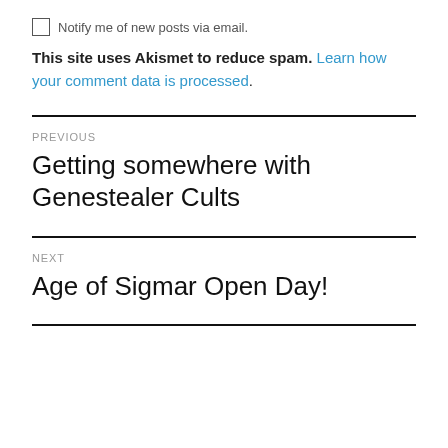Notify me of new posts via email.
This site uses Akismet to reduce spam. Learn how your comment data is processed.
PREVIOUS
Getting somewhere with Genestealer Cults
NEXT
Age of Sigmar Open Day!